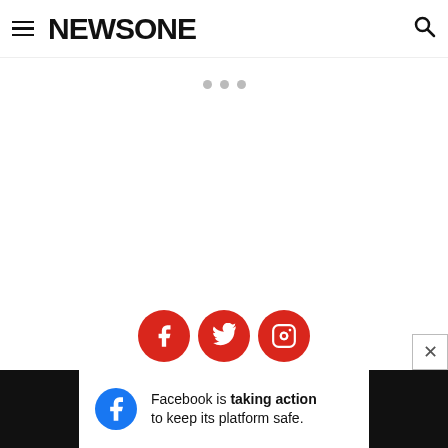NEWSONE
[Figure (logo): Three gray loading dots indicating content loading]
[Figure (infographic): Three red circular social media icons: Facebook, Twitter, Instagram]
An Urban One Brand
Copyright © 2022 Interactive One, LLC. All Rights Reserved.
Powered by WordPress VIP
[Figure (infographic): Facebook ad banner: Facebook is taking action to keep its platform safe.]